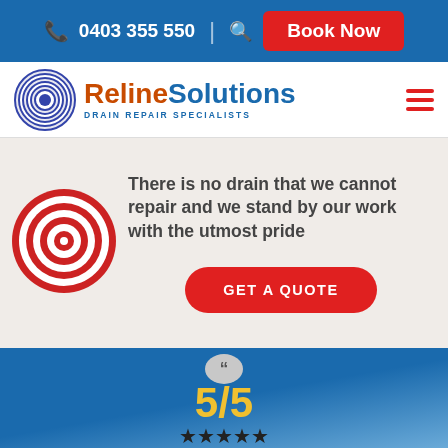0403 355 550 | Book Now
[Figure (logo): Reline Solutions Drain Repair Specialists logo with spiral graphic]
There is no drain that we cannot repair and we stand by our work with the utmost pride
GET A QUOTE
5/5
★★★★★